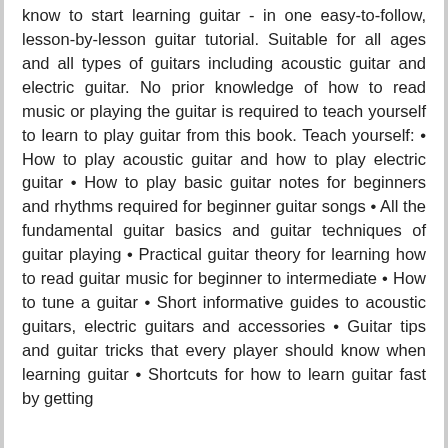know to start learning guitar - in one easy-to-follow, lesson-by-lesson guitar tutorial. Suitable for all ages and all types of guitars including acoustic guitar and electric guitar. No prior knowledge of how to read music or playing the guitar is required to teach yourself to learn to play guitar from this book. Teach yourself: • How to play acoustic guitar and how to play electric guitar • How to play basic guitar notes for beginners and rhythms required for beginner guitar songs • All the fundamental guitar basics and guitar techniques of guitar playing • Practical guitar theory for learning how to read guitar music for beginner to intermediate • How to tune a guitar • Short informative guides to acoustic guitars, electric guitars and accessories • Guitar tips and guitar tricks that every player should know when learning guitar • Shortcuts for how to learn guitar fast by getting